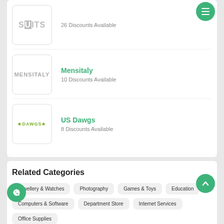[Figure (logo): SUITS logo - partial view]
26 Discounts Available
Mensitaly
[Figure (logo): MENSITALY logo]
10 Discounts Available
US Dawgs
[Figure (logo): DAWGS logo]
8 Discounts Available
Related Categories
Jewellery & Watches
Photography
Games & Toys
Education
Computers & Software
Department Store
Internet Services
Office Supplies